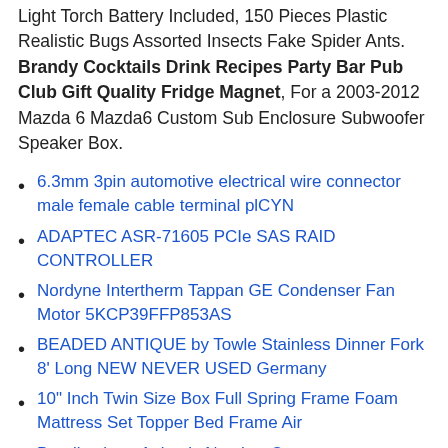Light Torch Battery Included, 150 Pieces Plastic Realistic Bugs Assorted Insects Fake Spider Ants. Brandy Cocktails Drink Recipes Party Bar Pub Club Gift Quality Fridge Magnet, For a 2003-2012 Mazda 6 Mazda6 Custom Sub Enclosure Subwoofer Speaker Box.
6.3mm 3pin automotive electrical wire connector male female cable terminal plCYN
ADAPTEC ASR-71605 PCIe SAS RAID CONTROLLER
Nordyne Intertherm Tappan GE Condenser Fan Motor 5KCP39FFP853AS
BEADED ANTIQUE by Towle Stainless Dinner Fork 8' Long NEW NEVER USED Germany
10" Inch Twin Size Box Full Spring Frame Foam Mattress Set Topper Bed Frame Air
Details about Animals Number Cartoon